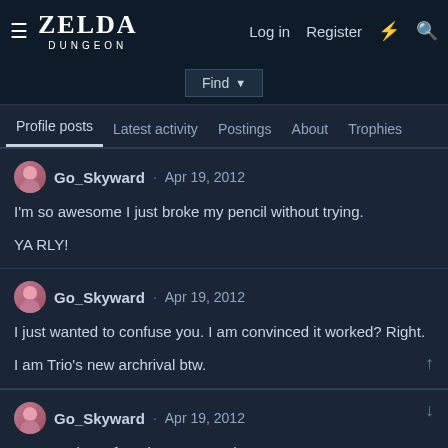ZELDA DUNGEON — Log in  Register
Find
Profile posts  Latest activity  Postings  About  Trophies
Go_Skyward · Apr 19, 2012
I'm so awesome I just broke my pencil without trying.

YA RLY!
Go_Skyward · Apr 19, 2012
I just wanted to confuse you. I am convinced it worked? Right.

I am Trio's new archrival btw.
Go_Skyward · Apr 19, 2012
NORM. I have found your secret layer.